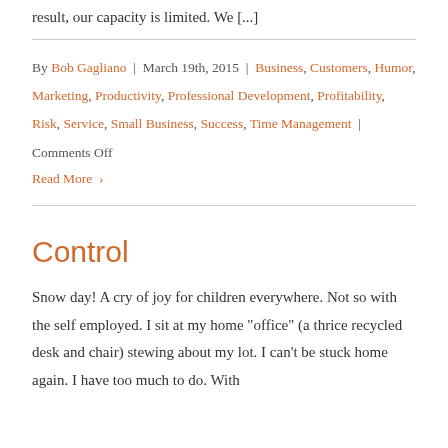result, our capacity is limited. We [...]
By Bob Gagliano | March 19th, 2015 | Business, Customers, Humor, Marketing, Productivity, Professional Development, Profitability, Risk, Service, Small Business, Success, Time Management | Comments Off
Read More ›
Control
Snow day! A cry of joy for children everywhere. Not so with the self employed. I sit at my home "office" (a thrice recycled desk and chair) stewing about my lot. I can't be stuck home again. I have too much to do. With